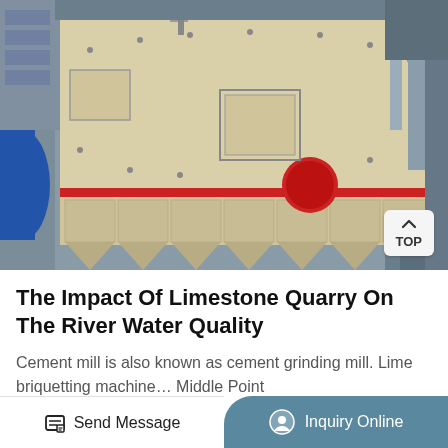[Figure (photo): Large industrial limestone crusher/impact mill machine in beige/cream color with red horizontal stripe and red circular disc, set in an industrial facility with grey metal structures. A 'TOP' navigation button is visible in the bottom-right corner of the image.]
The Impact Of Limestone Quarry On The River Water Quality
Cement mill is also known as cement grinding mill. Lime briquetting machine… Middle Point